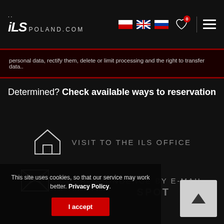iLS POLAND.COM
personal data, rectify them, delete or limit processing and the right to transfer data..
Determined? Check available ways to reservation
VISIT TO THE ILS OFFICE
CORRESPONDENCE BY E-MAIL
SPOT
This site uses cookies, so that our service may work better. Privacy Policy.
I accept